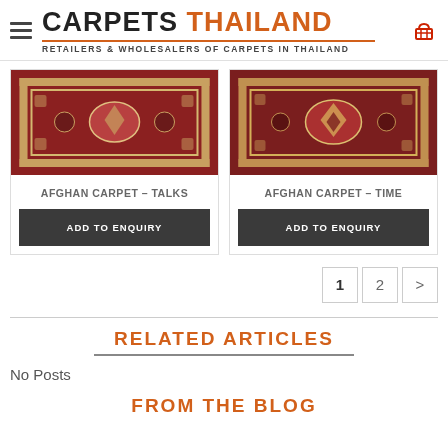CARPETS THAILAND — RETAILERS & WHOLESALERS OF CARPETS IN THAILAND
[Figure (photo): Afghan carpet product image — red patterned rug (Talks)]
AFGHAN CARPET – TALKS
ADD TO ENQUIRY
[Figure (photo): Afghan carpet product image — red patterned rug (Time)]
AFGHAN CARPET – TIME
ADD TO ENQUIRY
1  2  >
RELATED ARTICLES
No Posts
FROM THE BLOG